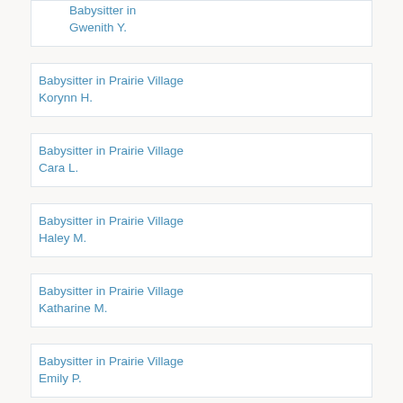Babysitter in
Gwenith Y.
Babysitter in Prairie Village
Korynn H.
Babysitter in Prairie Village
Cara L.
Babysitter in Prairie Village
Haley M.
Babysitter in Prairie Village
Katharine M.
Babysitter in Prairie Village
Emily P.
Babysitter in Prairie Village
Reagan M.